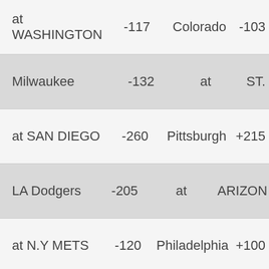| Team | Odds | Opponent | Odds2 |
| --- | --- | --- | --- |
| at WASHINGTON | -117 | Colorado | -103 |
| Milwaukee | -132 | at | ST. |
| at SAN DIEGO | -260 | Pittsburgh | +215 |
| LA Dodgers | -205 | at | ARIZON |
| at N.Y METS | -120 | Philadelphia | +100 |
American League
[Figure (infographic): Ad banner: Life Sciences Leaders with teal and green circles and colored lines, '+150' odds on right side]